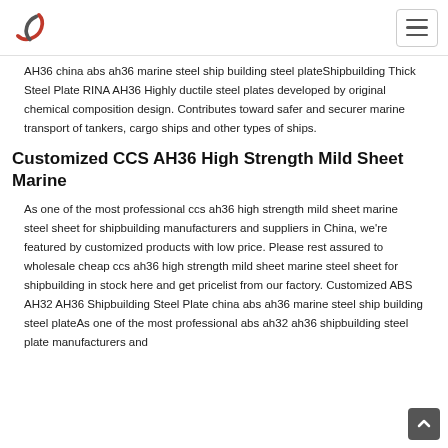AH36 china abs ah36 marine steel ship building steel plateShipbuilding Thick Steel Plate RINA AH36 Highly ductile steel plates developed by original chemical composition design. Contributes toward safer and securer marine transport of tankers, cargo ships and other types of ships.
Customized CCS AH36 High Strength Mild Sheet Marine
As one of the most professional ccs ah36 high strength mild sheet marine steel sheet for shipbuilding manufacturers and suppliers in China, we're featured by customized products with low price. Please rest assured to wholesale cheap ccs ah36 high strength mild sheet marine steel sheet for shipbuilding in stock here and get pricelist from our factory. Customized ABS AH32 AH36 Shipbuilding Steel Plate china abs ah36 marine steel ship building steel plateAs one of the most professional abs ah32 ah36 shipbuilding steel plate manufacturers and